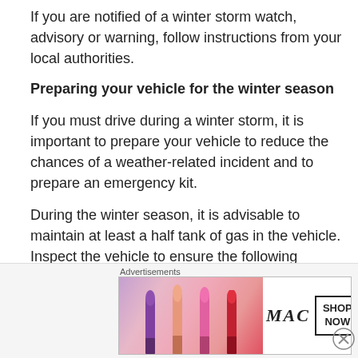If you are notified of a winter storm watch, advisory or warning, follow instructions from your local authorities.
Preparing your vehicle for the winter season
If you must drive during a winter storm, it is important to prepare your vehicle to reduce the chances of a weather-related incident and to prepare an emergency kit.
During the winter season, it is advisable to maintain at least a half tank of gas in the vehicle. Inspect the vehicle to ensure the following systems are operating properly:
Brakes: Brakes should provide even and balanced
[Figure (other): MAC cosmetics advertisement banner showing lipsticks with 'SHOP NOW' call to action]